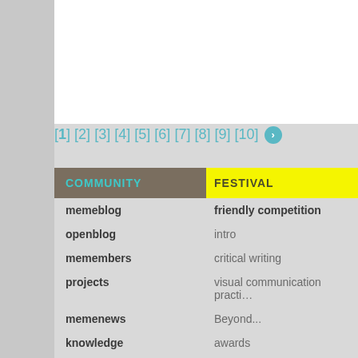[ 1 ] [ 2 ] [ 3 ] [ 4 ] [ 5 ] [ 6 ] [ 7 ] [ 8 ] [ 9 ] [ 10 ] >
| COMMUNITY | FESTIVAL |
| --- | --- |
| memeblog | friendly competition |
| openblog | intro |
| memembers | critical writing |
| projects | visual communication practi… |
| memenews | Beyond... |
| knowledge | awards |
| memebooks | rules |
| join the community | submit your work |